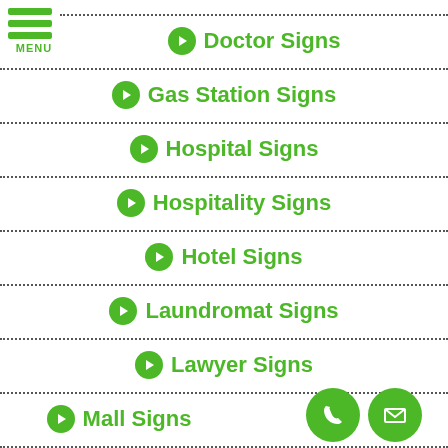Doctor Signs
Gas Station Signs
Hospital Signs
Hospitality Signs
Hotel Signs
Laundromat Signs
Lawyer Signs
Mall Signs